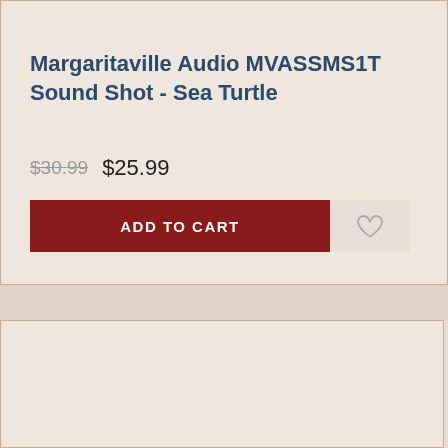Margaritaville Audio MVASSMS1T Sound Shot - Sea Turtle
$30.99  $25.99
[Figure (screenshot): Add to Cart button (dark red) and wishlist heart icon button side by side]